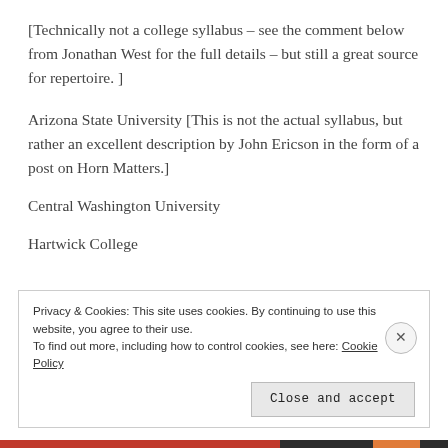[Technically not a college syllabus – see the comment below from Jonathan West for the full details – but still a great source for repertoire. ]
Arizona State University [This is not the actual syllabus, but rather an excellent description by John Ericson in the form of a post on Horn Matters.]
Central Washington University
Hartwick College
Privacy & Cookies: This site uses cookies. By continuing to use this website, you agree to their use.
To find out more, including how to control cookies, see here: Cookie Policy
Close and accept